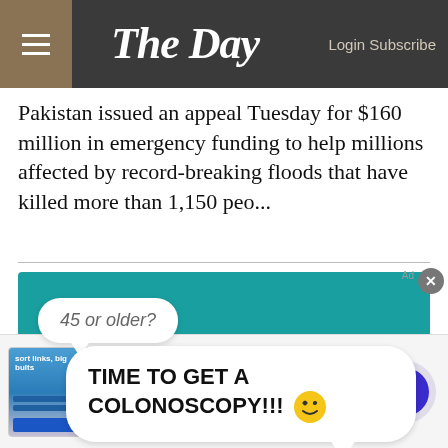The Day — Login Subscribe
Pakistan issued an appeal Tuesday for $160 million in emergency funding to help millions affected by record-breaking floods that have killed more than 1,150 peo...
[Figure (illustration): Advertisement with teal background showing two speech bubbles. Top bubble reads '45 or older?' and bottom large bubble reads 'TIME TO GET A COLONOSCOPY!!!' with a winking emoji face.]
[Figure (infographic): Bottom advertisement banner: '40% off Womens Clothing — Save 40% now on women clothing at Ashley Stewart — bit.ly' with thumbnail image and navigation arrow button.]